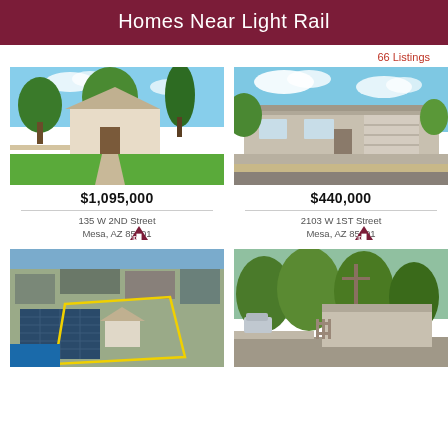Homes Near Light Rail
66 Listings
[Figure (photo): Exterior photo of 135 W 2ND Street, Mesa AZ — two-story white house with large green lawn and trees]
$1,095,000
135 W 2ND Street
Mesa, AZ 85201
[Figure (photo): Exterior photo of 2103 W 1ST Street, Mesa AZ — single-story ranch house with tree in front yard]
$440,000
2103 W 1ST Street
Mesa, AZ 85201
[Figure (photo): Aerial drone photo of commercial/residential property with yellow outlined parcel boundary and solar panels]
[Figure (photo): Street-level photo of single-story home with trees and telephone pole]